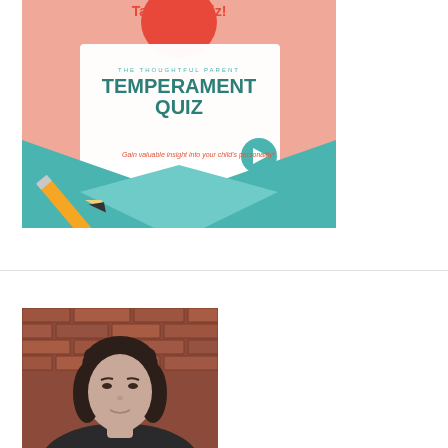[Figure (infographic): Temperament Quiz promotional graphic showing 'Take the Quiz!' heading in red, a card with 'THE THOUGHTFUL PARENT TEMPERAMENT QUIZ' in teal lettering, a play button, text 'Gain valuable insight into your child's personality!', a pencil illustration, and envelope/card design in salmon, teal, and white colors.]
[Figure (photo): Headshot photo of a woman with dark shoulder-length hair, wearing dark clothing, photographed against a brick wall background.]